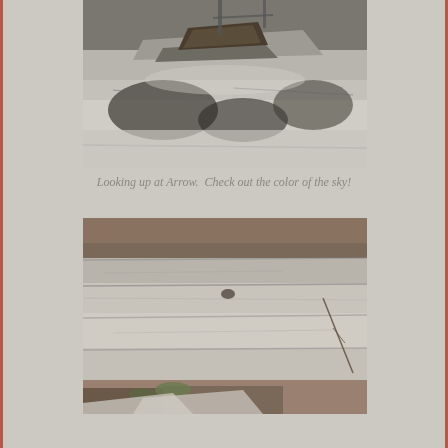[Figure (photo): Close-up photograph of rocky stone surface with shadows, viewed from below looking up, monochrome/desaturated tones with dark branch shadows on pale limestone rock.]
Looking up at Arrow.  Check out the color of the sky!
[Figure (photo): Photograph of flat layered rock slabs viewed horizontally, showing pale grey limestone with horizontal striations, some reddish-brown earth and sparse grass at edges, a thin branch visible on the right.]